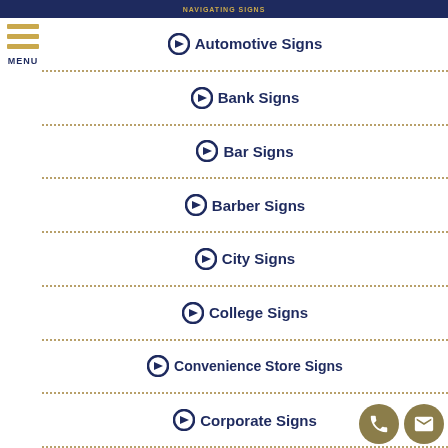NAVIGATING SIGNS
Automotive Signs
Bank Signs
Bar Signs
Barber Signs
City Signs
College Signs
Convenience Store Signs
Corporate Signs